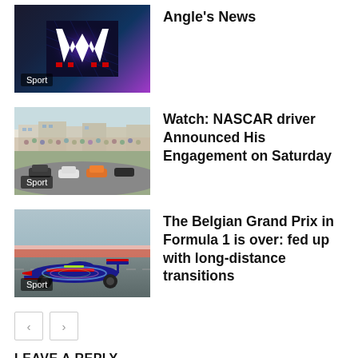[Figure (photo): WWE logo on dark glowing background with Sport label]
Angle's News
[Figure (photo): NASCAR race cars on a track with crowd and buildings, Sport label]
Watch: NASCAR driver Announced His Engagement on Saturday
[Figure (photo): Formula 1 Red Bull car on track, Sport label]
The Belgian Grand Prix in Formula 1 is over: fed up with long-distance transitions
LEAVE A REPLY
Comment: